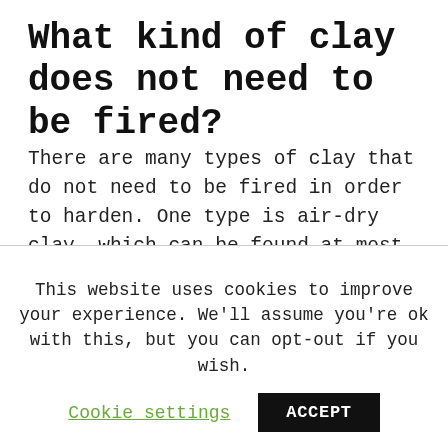What kind of clay does not need to be fired?
There are many types of clay that do not need to be fired in order to harden. One type is air-dry clay, which can be found at most craft stores. This type of clay will harden on its own within 24 hours. Another type is self-hardening clay, which contains a chemical that will make it harden over time. This type of clay can also be found at most craft stores. Finally, there is oven-bake clay, which
This website uses cookies to improve your experience. We'll assume you're ok with this, but you can opt-out if you wish.
Cookie settings
ACCEPT